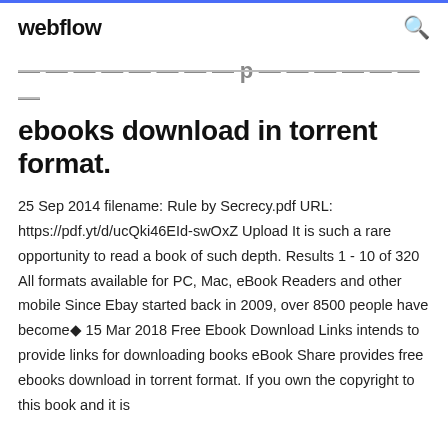webflow
ebooks download in torrent format.
25 Sep 2014 filename: Rule by Secrecy.pdf URL: https://pdf.yt/d/ucQki46EId-swOxZ Upload It is such a rare opportunity to read a book of such depth. Results 1 - 10 of 320 All formats available for PC, Mac, eBook Readers and other mobile Since Ebay started back in 2009, over 8500 people have become◆ 15 Mar 2018 Free Ebook Download Links intends to provide links for downloading books eBook Share provides free ebooks download in torrent format. If you own the copyright to this book and it is